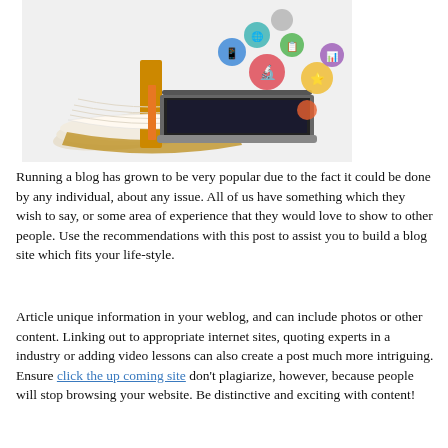[Figure (illustration): A laptop computer with an open book in front of it, with colorful circular icons (representing education and technology topics) floating upward from the screen. The image has a white background.]
Running a blog has grown to be very popular due to the fact it could be done by any individual, about any issue. All of us have something which they wish to say, or some area of experience that they would love to show to other people. Use the recommendations with this post to assist you to build a blog site which fits your life-style.
Article unique information in your weblog, and can include photos or other content. Linking out to appropriate internet sites, quoting experts in a industry or adding video lessons can also create a post much more intriguing. Ensure click the up coming site don't plagiarize, however, because people will stop browsing your website. Be distinctive and exciting with content!